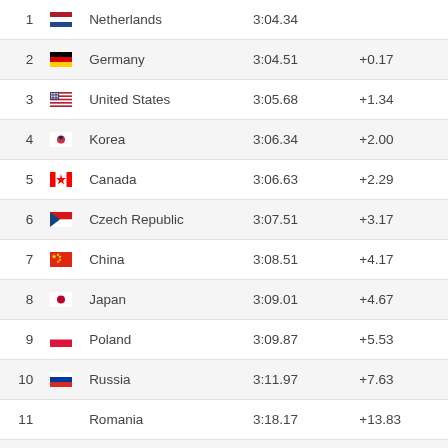| Rank | Flag | Country | Time | Diff |
| --- | --- | --- | --- | --- |
| 1 |  | Netherlands | 3:04.34 |  |
| 2 |  | Germany | 3:04.51 | +0.17 |
| 3 |  | United States | 3:05.68 | +1.34 |
| 4 |  | Korea | 3:06.34 | +2.00 |
| 5 |  | Canada | 3:06.63 | +2.29 |
| 6 |  | Czech Republic | 3:07.51 | +3.17 |
| 7 |  | China | 3:08.51 | +4.17 |
| 8 |  | Japan | 3:09.01 | +4.67 |
| 9 |  | Poland | 3:09.87 | +5.53 |
| 10 |  | Russia | 3:11.97 | +7.63 |
| 11 |  | Romania | 3:18.17 | +13.83 |
| 12 |  | Belarus | 3:27.20 | +22.86 |